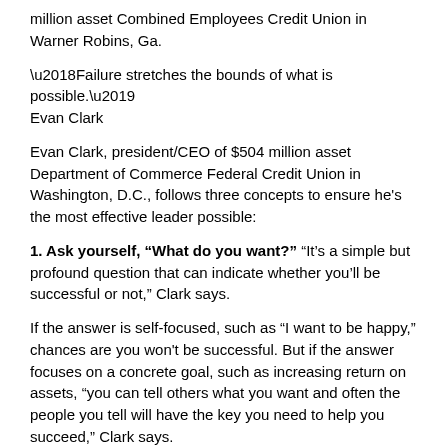million asset Combined Employees Credit Union in Warner Robins, Ga.
‘Failure stretches the bounds of what is possible.’
Evan Clark
Evan Clark, president/CEO of $504 million asset Department of Commerce Federal Credit Union in Washington, D.C., follows three concepts to ensure he’s the most effective leader possible:
1. Ask yourself, “What do you want?” “It’s a simple but profound question that can indicate whether you’ll be successful or not,” Clark says.
If the answer is self-focused, such as “I want to be happy,” chances are you won’t be successful. But if the answer focuses on a concrete goal, such as increasing return on assets, “you can tell others what you want and often the people you tell will have the key you need to help you succeed,” Clark says.
2. Seek failure. While failure doesn’t feel pleasant, it allows you to grow. “Failure stretches the bounds of what is possible,” Clark says.